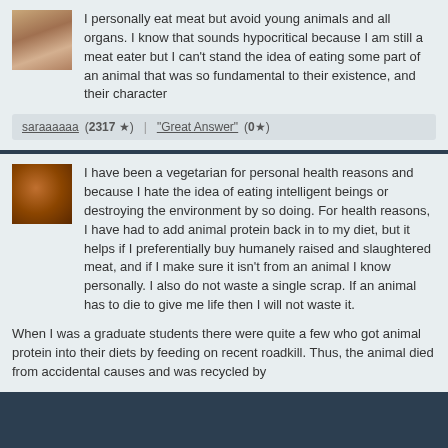I personally eat meat but avoid young animals and all organs. I know that sounds hypocritical because I am still a meat eater but I can't stand the idea of eating some part of an animal that was so fundamental to their existence, and their character
saraaaaaa (2317 ★) | "Great Answer" (0★)
I have been a vegetarian for personal health reasons and because I hate the idea of eating intelligent beings or destroying the environment by so doing. For health reasons, I have had to add animal protein back in to my diet, but it helps if I preferentially buy humanely raised and slaughtered meat, and if I make sure it isn't from an animal I know personally. I also do not waste a single scrap. If an animal has to die to give me life then I will not waste it.
When I was a graduate students there were quite a few who got animal protein into their diets by feeding on recent roadkill. Thus, the animal died from accidental causes and was recycled by